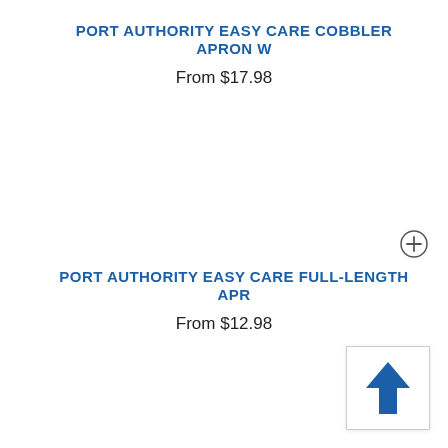PORT AUTHORITY EASY CARE COBBLER APRON W
From $17.98
[Figure (other): Circle with plus sign icon (add to cart / expand button)]
PORT AUTHORITY EASY CARE FULL-LENGTH APR
From $12.98
[Figure (other): Upward arrow scroll-to-top button in a white square with border]